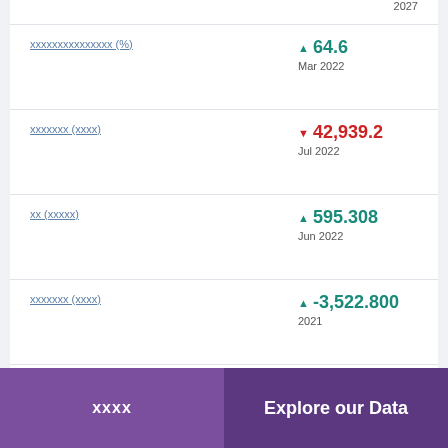2027
xxxxxxxxxxxxxxx (%) ▲ 64.6 Mar 2022
xxxxxxx (xxxx) ▼ 42,939.2 Jul 2022
xx (xxxxx) ▲ 595.308 Jun 2022
xxxxxxx (xxxx) ▲ -3,522.800 2021
xxxxxxxxxxxxxx (%) ▲ 7.8 Mar 2022
xxxx | Explore our Data